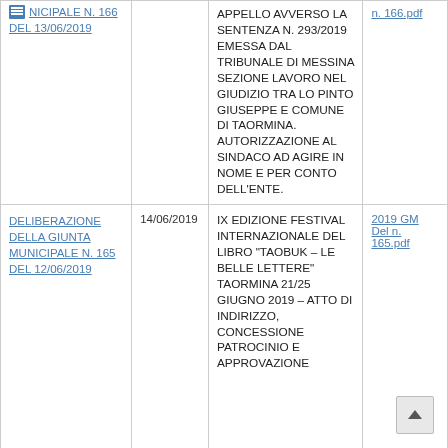| Atto | Data | Oggetto | Allegato |
| --- | --- | --- | --- |
| DELIBERAZIONE DELLA GIUNTA MUNICIPALE N. 166 DEL 13/06/2019 |  | APPELLO AVVERSO LA SENTENZA N. 293/2019 EMESSA DAL TRIBUNALE DI MESSINA SEZIONE LAVORO NEL GIUDIZIO TRA LO PINTO GIUSEPPE E COMUNE DI TAORMINA. AUTORIZZAZIONE AL SINDACO AD AGIRE IN NOME E PER CONTO DELL'ENTE. | n. 166.pdf |
| DELIBERAZIONE DELLA GIUNTA MUNICIPALE N. 165 DEL 12/06/2019 | 14/06/2019 | IX EDIZIONE FESTIVAL INTERNAZIONALE DEL LIBRO "TAOBUK – LE BELLE LETTERE" TAORMINA 21/25 GIUGNO 2019 – ATTO DI INDIRIZZO, CONCESSIONE PATROCINIO E APPROVAZIONE | 2019 GM Del n. 165.pdf |